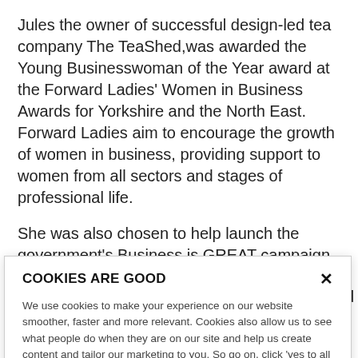Jules the owner of successful design-led tea company The TeaShed,was awarded the Young Businesswoman of the Year award at the Forward Ladies' Women in Business Awards for Yorkshire and the North East. Forward Ladies aim to encourage the growth of women in business, providing support to women from all sectors and stages of professional life.
She was also chosen to help launch the government's Business is GREAT campaign. The initiative run by the
COOKIES ARE GOOD
We use cookies to make your experience on our website smoother, faster and more relevant. Cookies also allow us to see what people do when they are on our site and help us create content and tailor our marketing to you. So go on, click 'yes to all cookies'. Review our Website Privacy Policy
Yes to all cookies